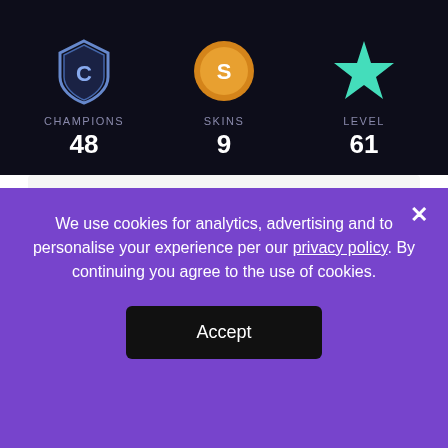[Figure (infographic): Three icons in a dark header bar: a shield with C (Champions), a coin with S (Skins), and a teal star (Level)]
CHAMPIONS 48
SKINS 9
LEVEL 61
(spirit blossom thresh) never banned
Rank of Account: PLATINUM IV
Server: EUNE
46.00 EUR
DETAILS
We use cookies for analytics, advertising and to personalise your experience per our privacy policy. By continuing you agree to the use of cookies.
Accept